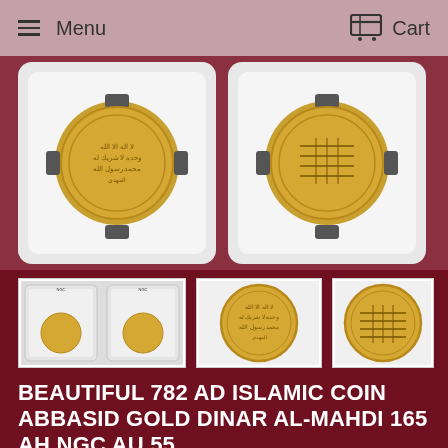Menu   Cart
[Figure (photo): Two Abbasid Gold Dinar coins in NGC grading slabs shown side by side — obverse on left, reverse on right — set against white backgrounds inside protective holders.]
[Figure (photo): Thumbnail: NGC slab with two small gold coins.]
[Figure (photo): Thumbnail: Close-up of obverse of Abbasid Gold Dinar showing Arabic Kufic inscription.]
[Figure (photo): Thumbnail: Close-up of reverse of Abbasid Gold Dinar showing Arabic inscription.]
BEAUTIFUL 782 AD ISLAMIC COIN ABBASID GOLD DINAR AL-MAHDI 165 AH NGC AU 55